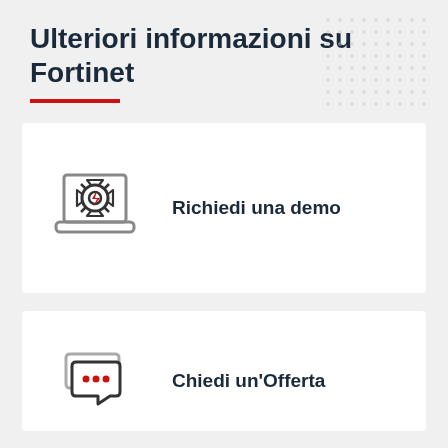Ulteriori informazioni su Fortinet
[Figure (illustration): Decorative dot grid pattern in top-right corner]
[Figure (illustration): Gear/settings icon with lightning bolt on laptop screen, representing demo request]
Richiedi una demo
[Figure (illustration): Chat bubble icon with ellipsis dots, representing quote/offer request]
Chiedi un'Offerta